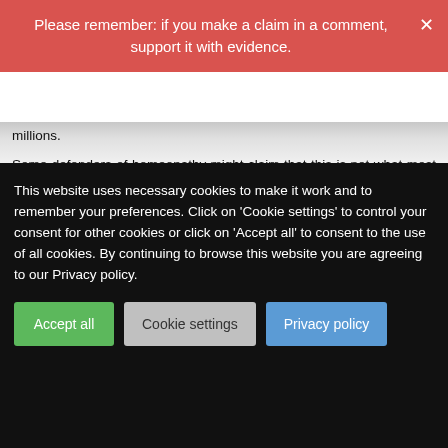Please remember: if you make a claim in a comment, support it with evidence.
millions.
Some defenders of homeopathy might claim that this is not what most homeopaths would advocate; they would merely recommend homeopathy as an adjunct to conventional oncology. Yet, there are many examples to the contrary, and not just from India – after all, Hahnemann, the inventor of homeopathy, insisted that homeopathy must never be combined with 'allopathic' medicines.
So, the next time someone claims homeopathy to be harmless, please show them this post.
Share this:
This website uses necessary cookies to make it work and to remember your preferences. Click on 'Cookie settings' to control your consent for other cookies or click on 'Accept all' to consent to the use of all cookies. By continuing to browse this website you are agreeing to our Privacy policy.